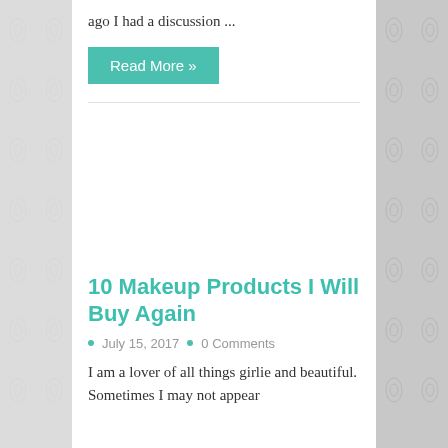ago I had a discussion ...
Read More »
[Figure (other): Advertisement/image placeholder area]
10 Makeup Products I Will Buy Again
July 15, 2017   0 Comments
I am a lover of all things girlie and beautiful. Sometimes I may not appear